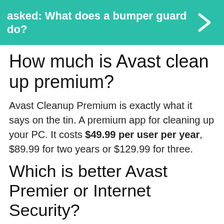asked: What does a bumper guard do?
How much is Avast clean up premium?
Avast Cleanup Premium is exactly what it says on the tin. A premium app for cleaning up your PC. It costs $49.99 per user per year, $89.99 for two years or $129.99 for three.
Which is better Avast Premier or Internet Security?
Unlike Avast Internet security, Avast